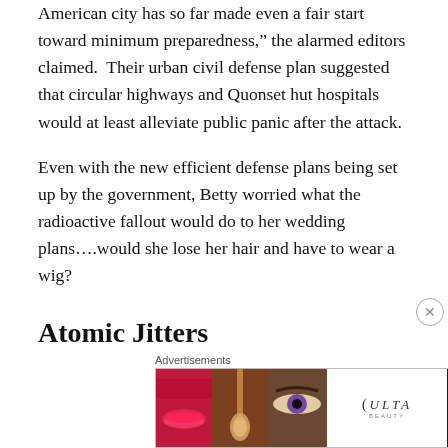American city has so far made even a fair start toward minimum preparedness," the alarmed editors claimed. Their urban civil defense plan suggested that circular highways and Quonset hut hospitals would at least alleviate public panic after the attack.
Even with the new efficient defense plans being set up by the government, Betty worried what the radioactive fallout would do to her wedding plans….would she lose her hair and have to wear a wig?
Atomic Jitters
[Figure (screenshot): Partial image of a civil defense book cover showing text 'you can protect' on a yellow and black background, with a close button (X) overlay.]
Advertisements
[Figure (photo): Ulta Beauty advertisement banner showing close-up cosmetic images: lips with red lipstick, makeup brush, eye with mascara, Ulta Beauty logo, eye with dark mascara, and SHOP NOW call to action.]